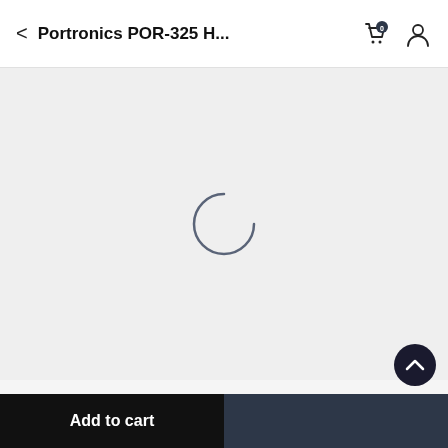Portronics POR-325 H...
[Figure (screenshot): Loading spinner on grey background representing product image loading state]
Fast Delivery
Add to cart